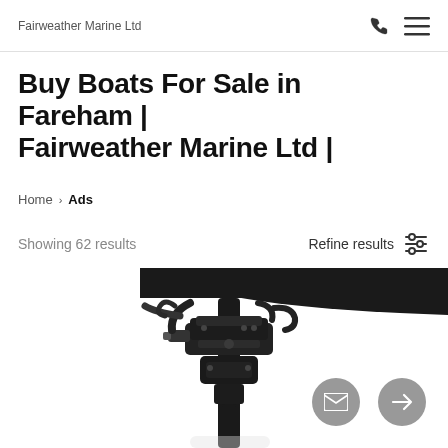Fairweather Marine Ltd
Buy Boats For Sale in Fareham | Fairweather Marine Ltd |
Home > Ads
Showing 62 results
Refine results
[Figure (photo): Close-up photo of a black outboard motor engine shaft and mounting bracket against white background]